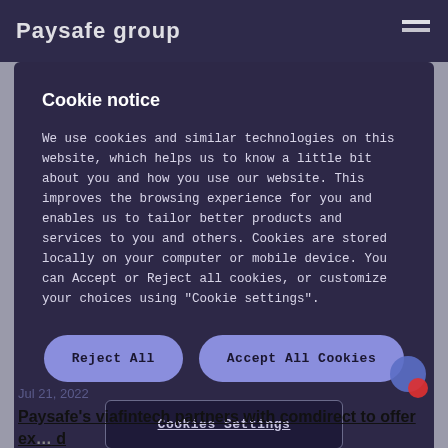Paysafe group
Cookie notice
We use cookies and similar technologies on this website, which helps us to know a little bit about you and how you use our website. This improves the browsing experience for you and enables us to tailor better products and services to you and others. Cookies are stored locally on your computer or mobile device. You can Accept or Reject all cookies, or customize your choices using "Cookie settings".
Reject All
Accept All Cookies
Cookies Settings
Jul 21, 2022
Paysafe's viafintech partners with comdirect to offer ex... d cash payment services